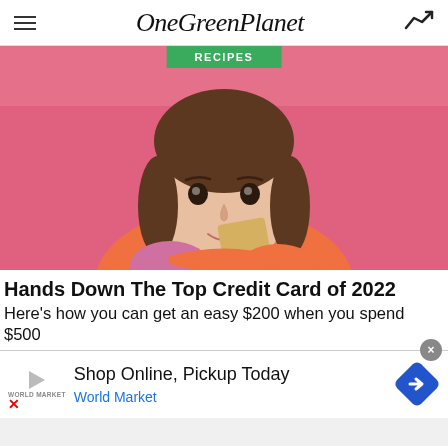OneGreenPlanet
[Figure (photo): Young woman with brown hair and bangs smiling, holding a yellow card against her cheek, in front of a pink background. A green 'RECIPES' badge overlays the top center of the image.]
Hands Down The Top Credit Card of 2022
Here's how you can get an easy $200 when you spend $500
[Figure (infographic): Advertisement banner: Shop Online, Pickup Today - World Market, with a blue diamond arrow icon on the right. Close (x) button top right, play/World Market logo on left, red X bottom left.]